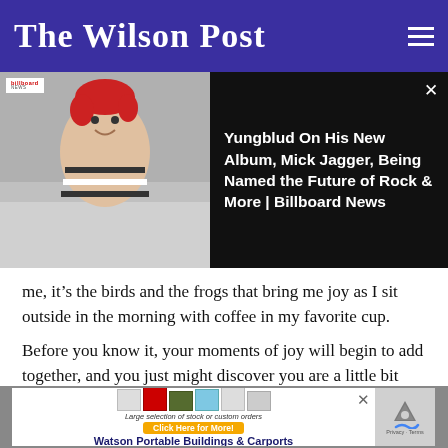The Wilson Post
[Figure (screenshot): Embedded video thumbnail showing a person with red hair sitting on a couch wearing a striped shirt, with Billboard News badge, alongside text: 'Yungblud On His New Album, Mick Jagger, Being Named the Future of Rock & More | Billboard News']
me, it’s the birds and the frogs that bring me joy as I sit outside in the morning with coffee in my favorite cup.
Before you know it, your moments of joy will begin to add together, and you just might discover you are a little bit happier than you were the week before. The research tells us it’s possible. What do you have to lose? I hope you’ll give it a try.
[Figure (screenshot): Advertisement for Watson Portable Buildings & Carports with small building images and 'Click Here for More!' button]